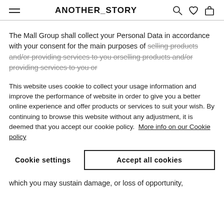ANOTHER_STORY
The Mall Group shall collect your Personal Data in accordance with your consent for the main purposes of selling products and/or providing services to you or
This website uses cookie to collect your usage information and improve the performance of website in order to give you a better online experience and offer products or services to suit your wish. By continuing to browse this website without any adjustment, it is deemed that you accept our cookie policy. More info on our Cookie policy
Cookie settings
Accept all cookies
which you may sustain damage, or loss of opportunity,